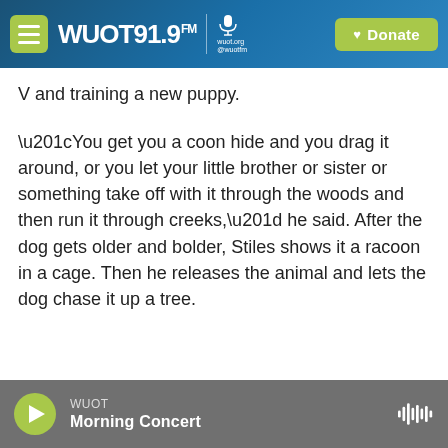[Figure (screenshot): WUOT 91.9 FM radio station website header with menu button, logo, microphone icon, and green Donate button on blue gradient background]
V and training a new puppy.
“You get you a coon hide and you drag it around, or you let your little brother or sister or something take off with it through the woods and then run it through creeks,” he said. After the dog gets older and bolder, Stiles shows it a racoon in a cage. Then he releases the animal and lets the dog chase it up a tree.
WUOT Morning Concert